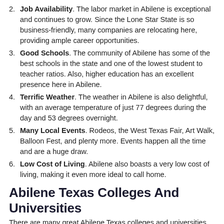2. Job Availability. The labor market in Abilene is exceptional and continues to grow. Since the Lone Star State is so business-friendly, many companies are relocating here, providing ample career opportunities.
3. Good Schools. The community of Abilene has some of the best schools in the state and one of the lowest student to teacher ratios. Also, higher education has an excellent presence here in Abilene.
4. Terrific Weather. The weather in Abilene is also delightful, with an average temperature of just 77 degrees during the day and 53 degrees overnight.
5. Many Local Events. Rodeos, the West Texas Fair, Art Walk, Balloon Fest, and plenty more. Events happen all the time and are a huge draw.
6. Low Cost of Living. Abilene also boasts a very low cost of living, making it even more ideal to call home.
Abilene Texas Colleges And Universities
There are many great Abilene Texas colleges and universities